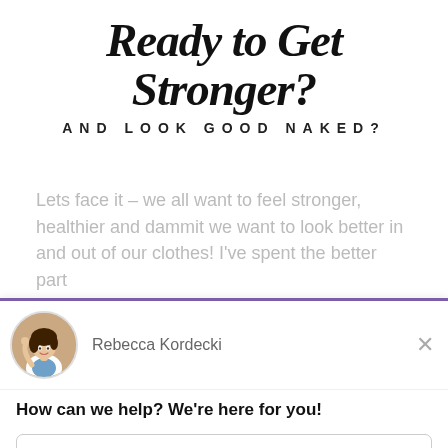Ready to Get Stronger? AND LOOK GOOD NAKED?
Lets face it – we all want to feel stronger, healthier and dammit we want to look better in and out of our clothes! I've spent the better part
[Figure (screenshot): Drift chat widget popup with Rebecca Kordecki avatar, greeting 'How can we help? We're here for you!', reply input box, and 'Chat by Drift' footer]
How can we help? We're here for you!
Reply to Rebecca Kordecki
Chat ⚡ by Drift